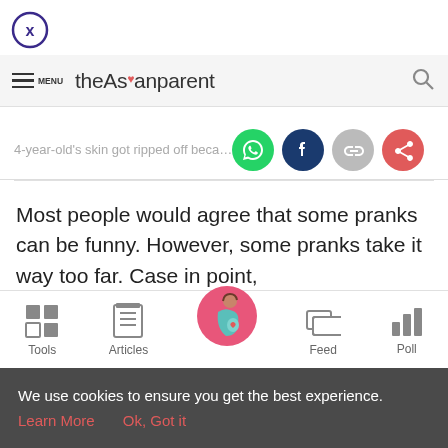[Figure (logo): Circle with X button (close button)]
theAsianparent — navigation bar with menu and search
4-year-old's skin got ripped off becaus
Most people would agree that some pranks can be funny. However, some pranks take it way too far. Case in point,
Tools | Articles | Feed | Poll — bottom navigation bar
We use cookies to ensure you get the best experience. Learn More  Ok, Got it